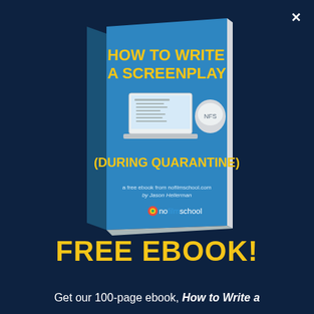[Figure (illustration): 3D book cover titled 'HOW TO WRITE A SCREENPLAY (DURING QUARANTINE)' with blue cover, yellow text, laptop illustration, and nofilmschool.com branding by Jason Hellerman]
FREE EBOOK!
Get our 100-page ebook, How to Write a